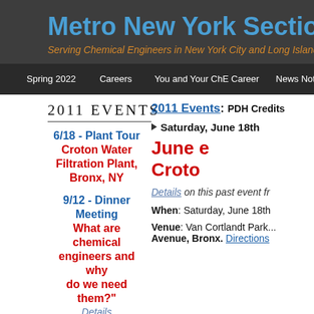Metro New York Section, AIChE
Serving Chemical Engineers in New York City and Long Island
Spring 2022 | Careers | You and Your ChE Career | News Notes
2011 EVENTS
6/18 - Plant Tour Croton Water Filtration Plant, Bronx, NY
9/12 - Dinner Meeting What are chemical engineers and why do we need them?" Details
Speaker: John K. Smith
2011 Events: PDH Credits
Saturday, June 18th
June e... Croto...
Details on this past event fr...
When: Saturday, June 18th
Venue: Van Cortlandt Park... Avenue, Bronx. Directions